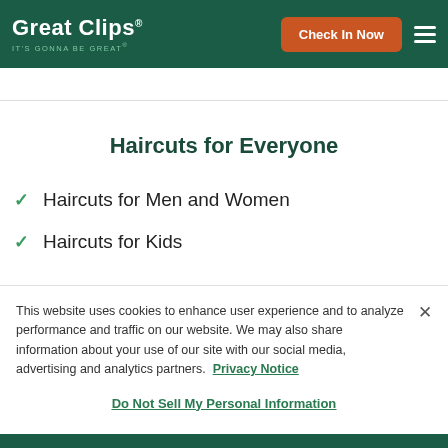Great Clips IT'S GONNA BE GREAT | Check In Now
Haircuts for Everyone
Haircuts for Men and Women
Haircuts for Kids
This website uses cookies to enhance user experience and to analyze performance and traffic on our website. We may also share information about your use of our site with our social media, advertising and analytics partners. Privacy Notice
Do Not Sell My Personal Information